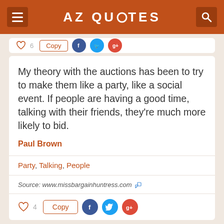AZ QUOTES
My theory with the auctions has been to try to make them like a party, like a social event. If people are having a good time, talking with their friends, they're much more likely to bid.
Paul Brown
Party, Talking, People
Source: www.missbargainhuntress.com